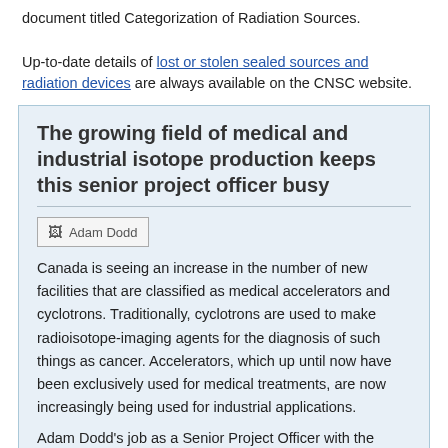document titled Categorization of Radiation Sources. Up-to-date details of lost or stolen sealed sources and radiation devices are always available on the CNSC website.
The growing field of medical and industrial isotope production keeps this senior project officer busy
[Figure (photo): Photo of Adam Dodd]
Canada is seeing an increase in the number of new facilities that are classified as medical accelerators and cyclotrons. Traditionally, cyclotrons are used to make radioisotope-imaging agents for the diagnosis of such things as cancer. Accelerators, which up until now have been exclusively used for medical treatments, are now increasingly being used for industrial applications.
Adam Dodd's job as a Senior Project Officer with the